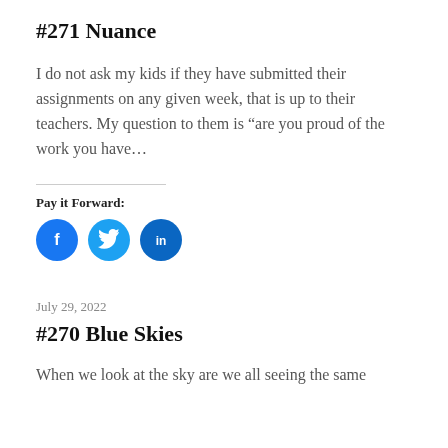#271 Nuance
I do not ask my kids if they have submitted their assignments on any given week, that is up to their teachers. My question to them is “are you proud of the work you have…
Pay it Forward:
[Figure (other): Three social media share buttons: Facebook (blue circle with f icon), Twitter (light blue circle with bird icon), LinkedIn (dark blue circle with in icon)]
July 29, 2022
#270 Blue Skies
When we look at the sky are we all seeing the same